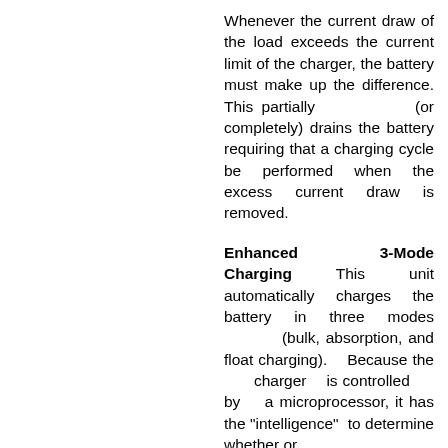Whenever the current draw of the load exceeds the current limit of the charger, the battery must make up the difference. This partially (or completely) drains the battery requiring that a charging cycle be performed when the excess current draw is removed.
Enhanced 3-Mode Charging This unit automatically charges the battery in three modes (bulk, absorption, and float charging). Because the charger is controlled by a microprocessor, it has the "intelligence" to determine whether or